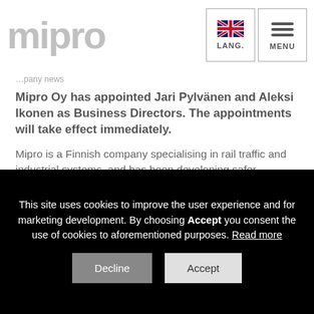MIPRO | LANG. | MENU
Mipro Oy has appointed Jari Pylvänen and Aleksi Ikonen as Business Directors. The appointments will take effect immediately.
Mipro is a Finnish company specialising in rail traffic and industrial systems, and has been developing safer, economical and more efficient railway and industry processes for water and energy management. The
This site uses cookies to improve the user experience and for marketing development. By choosing Accept you consent the use of cookies to aforementioned purposes. Read more Decline Accept